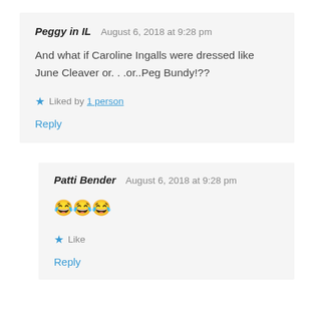Peggy in IL — August 6, 2018 at 9:28 pm
And what if Caroline Ingalls were dressed like June Cleaver or. . .or..Peg Bundy!??
Liked by 1 person
Reply
Patti Bender — August 6, 2018 at 9:28 pm
😂😂😂
Like
Reply